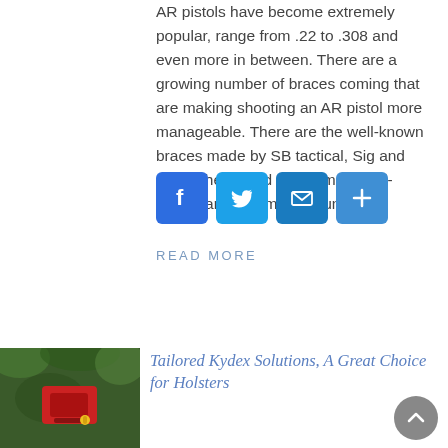AR pistols have become extremely popular, range from .22 to .308 and even more in between. There are a growing number of braces coming that are making shooting an AR pistol more manageable. There are the well-known braces made by SB tactical, Sig and KAK. They stand as the most well-known and commonly found [...]
[Figure (other): Social sharing buttons: Facebook (blue F), Twitter (blue bird), Email (blue envelope), Share (blue plus)]
READ MORE
[Figure (photo): Thumbnail photo of a red Kydex holster on a dark background with green foliage]
Tailored Kydex Solutions, A Great Choice for Holsters